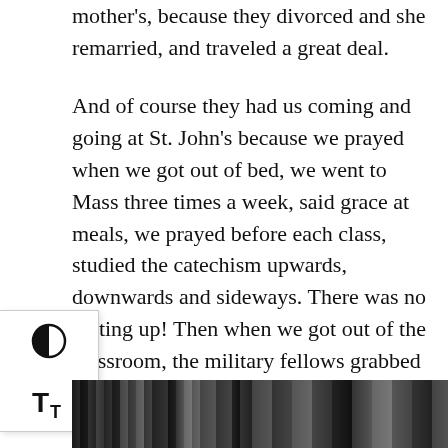mother's, because they divorced and she remarried, and traveled a great deal.
And of course they had us coming and going at St. John's because we prayed when we got out of bed, we went to Mass three times a week, said grace at meals, we prayed before each class, studied the catechism upwards, downwards and sideways. There was no getting up! Then when we got out of the classroom, the military fellows grabbed on to us, and we drilled, and drilled, and drilled some more. So it was discipline, spiritual and temporal, in the extreme.
[Figure (photo): Black and white photograph visible at bottom of page, partially cropped, showing what appears to be people in a historical setting.]